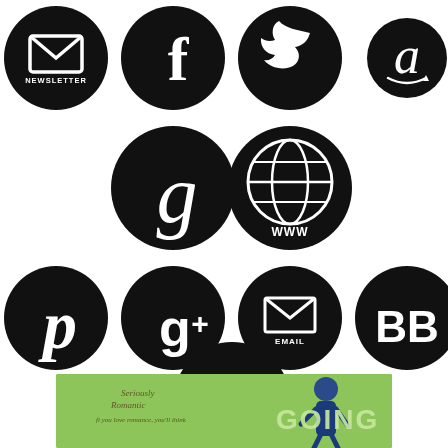[Figure (illustration): A grid of social media / web icons as black circles with white symbols: Row 1: Newsletter (envelope), Facebook (f), Twitter (bird), Amazon (a). Row 2 (centered): Goodreads (g), Website/WWW (globe). Row 3: Pinterest (p), Google+ (g+), Email (envelope), BookBub (BB). Row 4 (centered): Facebook Group (f with GROUP label). Below: partial book cover image showing a person on a green background with text 'GOING'.]